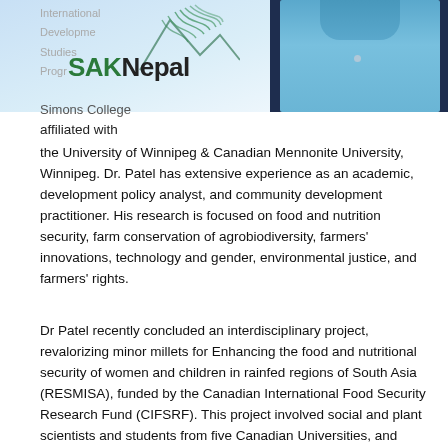[Figure (logo): SAKNepal logo with mountain/leaf graphic on light blue background, with faint text 'International Development Studies Program, Simons College' behind it]
[Figure (photo): Partial photo of a person wearing a light blue shirt, shown from neck/shoulder area, against dark navy background]
Simons College
affiliated with
the University of Winnipeg & Canadian Mennonite University, Winnipeg. Dr. Patel has extensive experience as an academic, development policy analyst, and community development practitioner. His research is focused on food and nutrition security, farm conservation of agrobiodiversity, farmers' innovations, technology and gender, environmental justice, and farmers' rights.
Dr Patel recently concluded an interdisciplinary project, revalorizing minor millets for Enhancing the food and nutritional security of women and children in rainfed regions of South Asia (RESMISA), funded by the Canadian International Food Security Research Fund (CIFSRF). This project involved social and plant scientists and students from five Canadian Universities, and several NGOs and